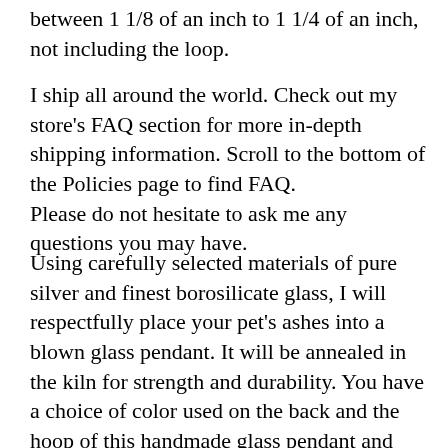between 1 1/8 of an inch to 1 1/4 of an inch, not including the loop.
I ship all around the world. Check out my store's FAQ section for more in-depth shipping information. Scroll to the bottom of the Policies page to find FAQ.
Please do not hesitate to ask me any questions you may have.
Using carefully selected materials of pure silver and finest borosilicate glass, I will respectfully place your pet's ashes into a blown glass pendant. It will be annealed in the kiln for strength and durability. You have a choice of color used on the back and the hoop of this handmade glass pendant and they can be chosen from the dropdown menu at the time of order.